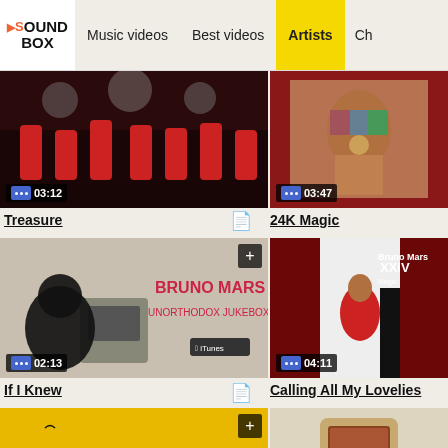SOUND BOX — Music videos | Best videos | Artists | Ch...
[Figure (screenshot): Video thumbnail for Treasure - dark red concert scene with dancers in red, duration 03:12]
[Figure (screenshot): Video thumbnail for 24K Magic - Bruno Mars in colorful shirt, duration 03:47]
Treasure
24K Magic
[Figure (screenshot): Video thumbnail showing Bruno Mars Unorthodox Jukebox album art with gorilla, duration 02:13]
[Figure (screenshot): Video thumbnail showing Bruno Mars XXIV Magic album art, duration 04:11]
If I Knew
Calling All My Lovelies
[Figure (screenshot): Video thumbnail with yellow background and silhouette figure]
[Figure (screenshot): Video thumbnail with cream/beige background showing jukebox]